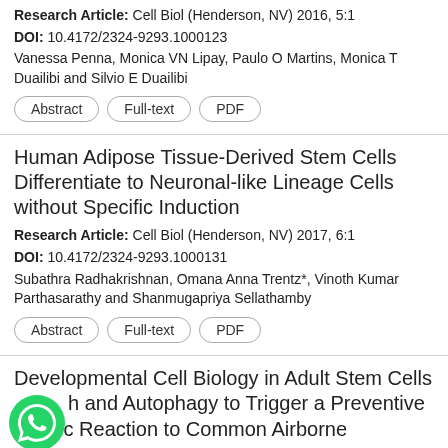Research Article: Cell Biol (Henderson, NV) 2016, 5:1
DOI: 10.4172/2324-9293.1000123
Vanessa Penna, Monica VN Lipay, Paulo O Martins, Monica T Duailibi and Silvio E Duailibi
Abstract | Full-text | PDF
Human Adipose Tissue-Derived Stem Cells Differentiate to Neuronal-like Lineage Cells without Specific Induction
Research Article: Cell Biol (Henderson, NV) 2017, 6:1
DOI: 10.4172/2324-9293.1000131
Subathra Radhakrishnan, Omana Anna Trentz*, Vinoth Kumar Parthasarathy and Shanmugapriya Sellathamby
Abstract | Full-text | PDF
Developmental Cell Biology in Adult Stem Cells ...h and Autophagy to Trigger a Preventive ...gic Reaction to Common Airborne Allergens under Synchrotron Radiatio... Nanotechnology for Thera...